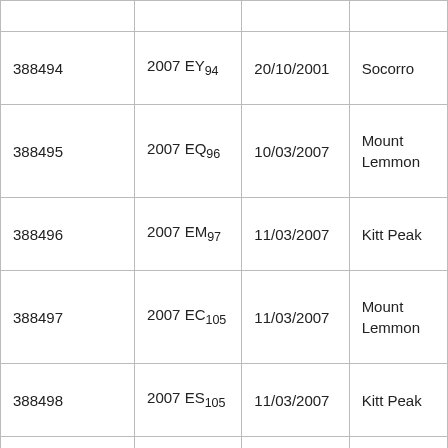|  |  |  |  |
| 388494 | 2007 EY94 | 20/10/2001 | Socorro |
| 388495 | 2007 EQ96 | 10/03/2007 | Mount Lemmon |
| 388496 | 2007 EM97 | 11/03/2007 | Kitt Peak |
| 388497 | 2007 EC105 | 11/03/2007 | Mount Lemmon |
| 388498 | 2007 ES105 | 11/03/2007 | Kitt Peak |
| 388499 | 2007 EK107 | 11/03/2007 | Kitt Peak |
|  | 2007 ... |  |  |